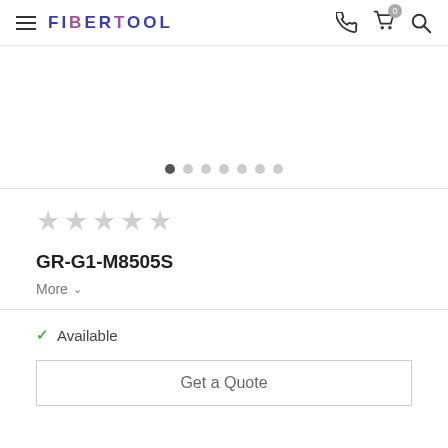FIBERTOOL navigation header with hamburger menu, logo, phone icon, cart (0), and search icon
[Figure (screenshot): Product image carousel area with 7 dots pagination indicator, first dot active]
☆☆☆☆☆ (5 empty stars rating)
GR-G1-M8505S
More ∨
✓ Available
Get a Quote